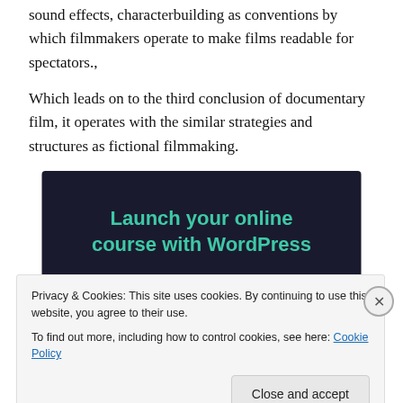sound effects, characterbuilding as conventions by which filmmakers operate to make films readable for spectators.,
Which leads on to the third conclusion of documentary film, it operates with the similar strategies and structures as fictional filmmaking.
[Figure (illustration): Advertisement banner with dark navy background. Text reads 'Launch your online course with WordPress' in teal/green color, with a 'Learn More' button in teal/green with rounded corners.]
Privacy & Cookies: This site uses cookies. By continuing to use this website, you agree to their use.
To find out more, including how to control cookies, see here: Cookie Policy
Close and accept